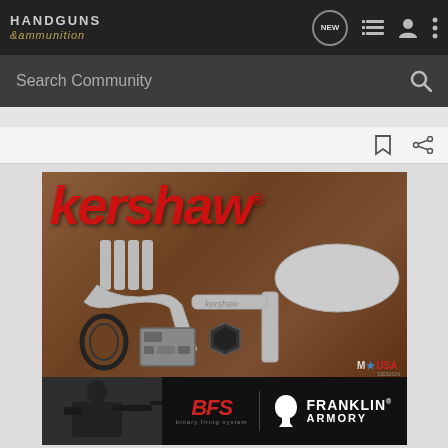HANDGUNS & ammunition
Search Community
[Figure (photo): Kershaw brand advertisement showing a spork/multi-tool utensil (fork and spoon combo) on a brown textured background with the Kershaw logo in large red italic letters. Also shows smaller multi-tools at the bottom with a Made in USA badge.]
[Figure (photo): Franklin Armory advertisement banner with BFS logo and Franklin Armory branding on black background, with a shooter silhouette on the left.]